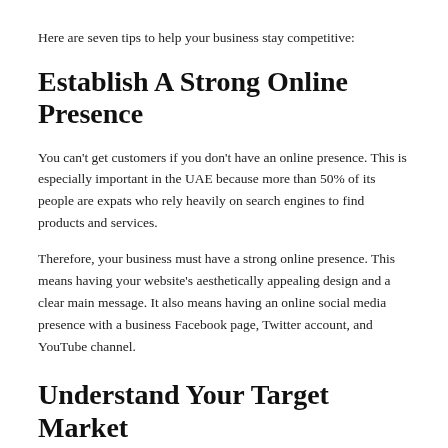Here are seven tips to help your business stay competitive:
Establish A Strong Online Presence
You can't get customers if you don't have an online presence. This is especially important in the UAE because more than 50% of its people are expats who rely heavily on search engines to find products and services.
Therefore, your business must have a strong online presence. This means having your website's aesthetically appealing design and a clear main message. It also means having an online social media presence with a business Facebook page, Twitter account, and YouTube channel.
Understand Your Target Market